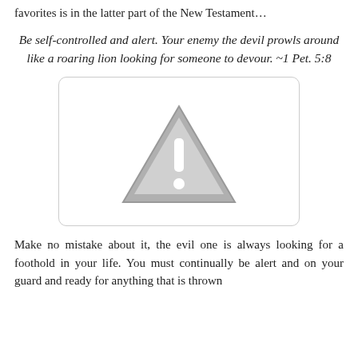favorites is in the latter part of the New Testament…
Be self-controlled and alert. Your enemy the devil prowls around like a roaring lion looking for someone to devour. ~1 Pet. 5:8
[Figure (illustration): Warning triangle with exclamation mark icon, light gray, centered in a rounded-corner box with light gray border]
Make no mistake about it, the evil one is always looking for a foothold in your life. You must continually be alert and on your guard and ready for anything that is thrown